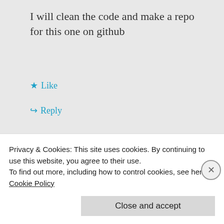I will clean the code and make a repo for this one on github
★ Like
↳ Reply
[Figure (infographic): WordPress hosting ad: 'The Platform Where WordPress Works Best' with 'WordPress' and 'Best' in blue, rest in dark navy bold text on white background.]
Privacy & Cookies: This site uses cookies. By continuing to use this website, you agree to their use.
To find out more, including how to control cookies, see here: Cookie Policy
Close and accept